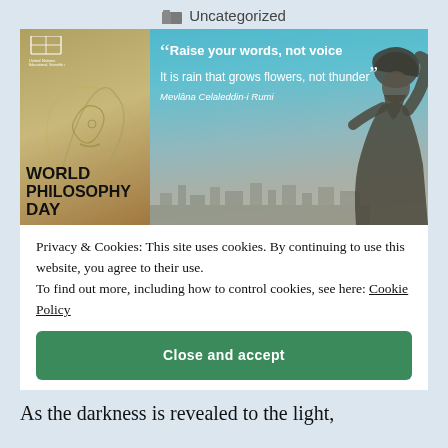Uncategorized
[Figure (photo): World Philosophy Day banner image with UNESCO logo on left showing an illustrated face with green and yellow tones over a world map, bold text reading WORLD PHILOSOPHY DAY at bottom left, and on the right a photo of a Rumi statue with arms raised against a blue sky with cityscape below, overlaid with a quote: Raise your words, not voice / It is rain that grows flowers, not thunder – Mevlana Celaleddin-i Rumi]
Privacy & Cookies: This site uses cookies. By continuing to use this website, you agree to their use.
To find out more, including how to control cookies, see here: Cookie Policy
Close and accept
As the darkness is revealed to the light,